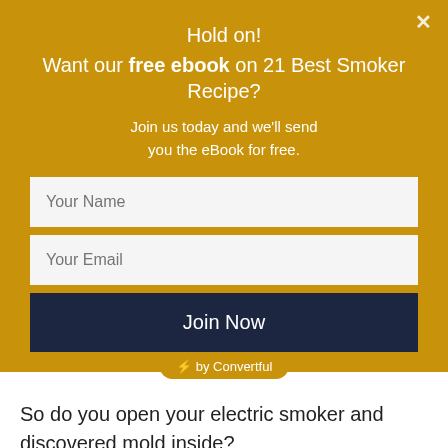Hold on!
Want our free ebook on 21 Best Smoker Recipe?
Join us today and we'll send you the eBook for free.
Your Name
Your Email
Join Now
⚡ by Convertful
So do you open your electric smoker and discovered mold inside?
MASTERBUILT MB20071117 DIGITAL ELECTRIC SMOKER